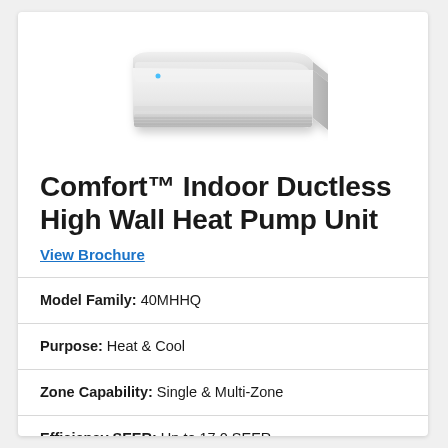[Figure (illustration): White wall-mounted mini-split ductless indoor air handler unit, viewed at a slight angle, showing the sleek horizontal profile with intake grille at bottom.]
Comfort™ Indoor Ductless High Wall Heat Pump Unit
View Brochure
| Model Family: | 40MHHQ |
| Purpose: | Heat & Cool |
| Zone Capability: | Single & Multi-Zone |
| Efficiency SEER: | Up to 17.0 SEER |